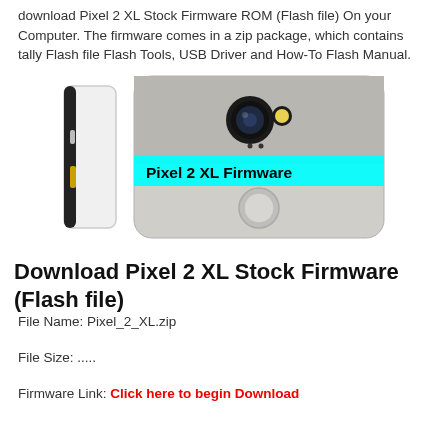download Pixel 2 XL Stock Firmware ROM (Flash file) On your Computer. The firmware comes in a zip package, which contains tally Flash file Flash Tools, USB Driver and How-To Flash Manual.
[Figure (photo): Google Pixel 2 XL smartphone shown from the side and back, with 'Pixel 2 XL Firmware' text overlaid in cyan on a cyan background strip across the back view.]
Download Pixel 2 XL Stock Firmware (Flash file)
File Name: Pixel_2_XL.zip
File Size: .....
Firmware Link: Click here to begin Download